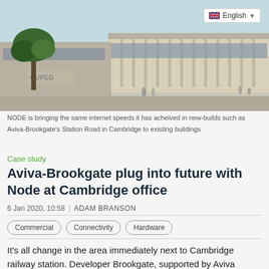[Figure (photo): Exterior view of a modern office building (Aviva-Brookgate Station Road in Cambridge) with a tree in the foreground and people visible near the entrance. Blue sky visible. English language selector badge in top right corner.]
NODE is bringing the same internet speeds it has acheived in new-builds such as Aviva-Brookgate's Station Road in Cambridge to existing buildings
Case study
Aviva-Brookgate plug into future with Node at Cambridge office
6 Jan 2020, 10:58  |  ADAM BRANSON
Commercial
Connectivity
Hardware
It's all change in the area immediately next to Cambridge railway station. Developer Brookgate, supported by Aviva Investors, is now a substantial way through its CB1 regeneration project. Emerging from the station, visitors are greeted by an enhanced public square, including